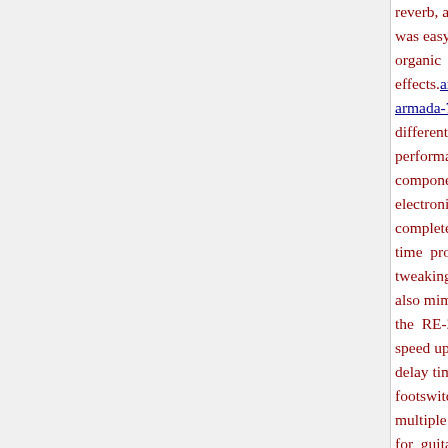reverb, and distinctive 12-position Mode S was easy to use and capable of a wide organic effects. aryanrealty.com/ckfinder/userfiles/f armada-7792dmt-manual.pdf As such, it fo different music applications, from recordi performances. The Space Echo was component in the reggae-driven dub sou electronic music artists. All of the ori completely replicated in the RE-20, and a time produces identical behaviors as tweaking the Repeat Rate not only adjust also mimics the unique pitch-shifting be the RE-201 as its physical motors grad speed up the tape loop. Stereo operation i delay time can be tapped in with the righ footswitch. A Twist function is also avai multiple parameters with a press of a ped for guitarists to replicate the dub-style r